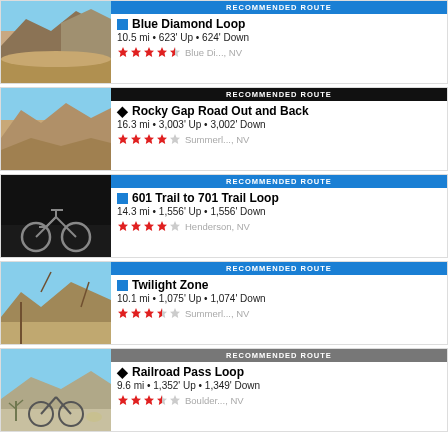RECOMMENDED ROUTE | Blue Diamond Loop | 10.5 mi • 623' Up • 624' Down | ★★★★½ Blue Di..., NV
RECOMMENDED ROUTE | Rocky Gap Road Out and Back | 16.3 mi • 3,003' Up • 3,002' Down | ★★★★☆ Summerl..., NV
RECOMMENDED ROUTE | 601 Trail to 701 Trail Loop | 14.3 mi • 1,556' Up • 1,556' Down | ★★★★☆ Henderson, NV
RECOMMENDED ROUTE | Twilight Zone | 10.1 mi • 1,075' Up • 1,074' Down | ★★★½☆ Summerl..., NV
RECOMMENDED ROUTE | Railroad Pass Loop | 9.6 mi • 1,352' Up • 1,349' Down | ★★★½☆ Boulder..., NV